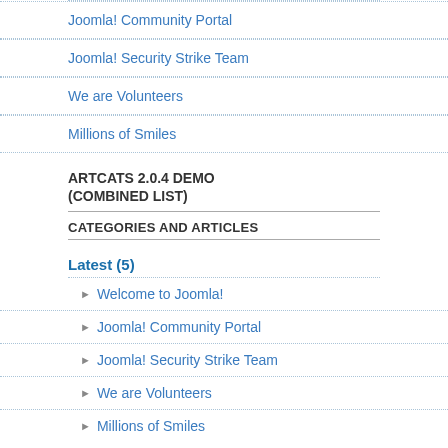Joomla! Community Portal
Joomla! Security Strike Team
We are Volunteers
Millions of Smiles
ARTCATS 2.0.4 DEMO (COMBINED LIST)
CATEGORIES AND ARTICLES
Latest (5)
Welcome to Joomla!
Joomla! Community Portal
Joomla! Security Strike Team
We are Volunteers
Millions of Smiles